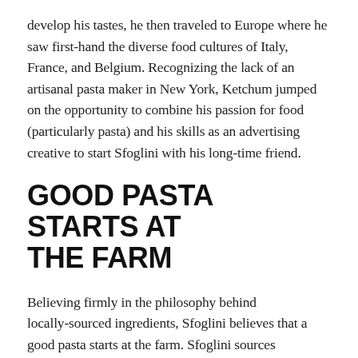develop his tastes, he then traveled to Europe where he saw first-hand the diverse food cultures of Italy, France, and Belgium. Recognizing the lack of an artisanal pasta maker in New York, Ketchum jumped on the opportunity to combine his passion for food (particularly pasta) and his skills as an advertising creative to start Sfoglini with his long-time friend.
GOOD PASTA STARTS AT THE FARM
Believing firmly in the philosophy behind locally-sourced ingredients, Sfoglini believes that a good pasta starts at the farm. Sfoglini sources ingredients like corn, rye, flour, and wheat from local farmers in New York State and Massachusetts.
Ketchum told us they even worked with nearby ‘urban’ farms